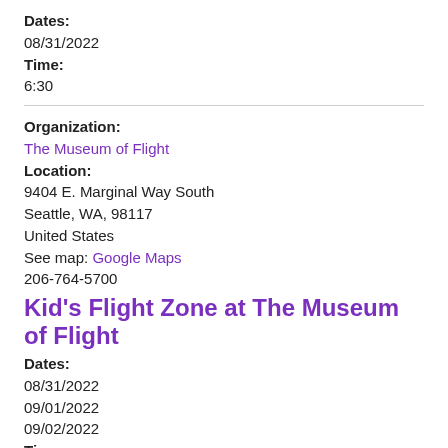Dates:
08/31/2022
Time:
6:30
Organization:
The Museum of Flight
Location:
9404 E. Marginal Way South
Seattle, WA, 98117
United States
See map: Google Maps
206-764-5700
Kid's Flight Zone at The Museum of Flight
Dates:
08/31/2022
09/01/2022
09/02/2022
Time:
10am - 5pm
Organization:
Mountainview Blueberry Farm
Location: